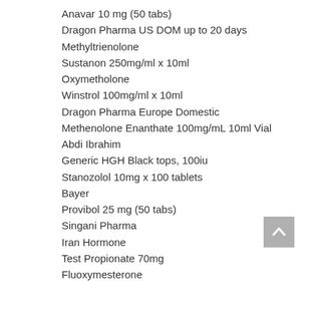Anavar 10 mg (50 tabs)
Dragon Pharma US DOM up to 20 days
Methyltrienolone
Sustanon 250mg/ml x 10ml
Oxymetholone
Winstrol 100mg/ml x 10ml
Dragon Pharma Europe Domestic
Methenolone Enanthate 100mg/mL 10ml Vial
Abdi Ibrahim
Generic HGH Black tops, 100iu
Stanozolol 10mg x 100 tablets
Bayer
Provibol 25 mg (50 tabs)
Singani Pharma
Iran Hormone
Test Propionate 70mg
Fluoxymesterone
[Figure (other): Back to top button with upward chevron arrow on grey background]